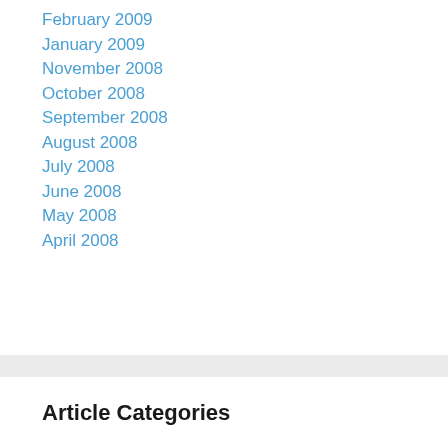February 2009
January 2009
November 2008
October 2008
September 2008
August 2008
July 2008
June 2008
May 2008
April 2008
Article Categories